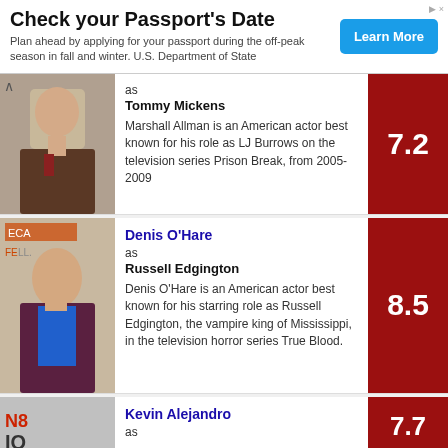[Figure (other): Advertisement banner: Check your Passport's Date. Plan ahead by applying for your passport during the off-peak season in fall and winter. U.S. Department of State. Learn More button.]
as Tommy Mickens. Marshall Allman is an American actor best known for his role as LJ Burrows on the television series Prison Break, from 2005-2009. Score: 7.2
Denis O'Hare as Russell Edgington. Denis O'Hare is an American actor best known for his starring role as Russell Edgington, the vampire king of Mississippi, in the television horror series True Blood. Score: 8.5
Kevin Alejandro as. Score: 7.7